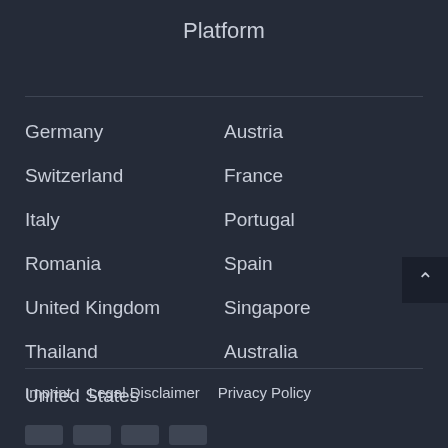Platform
Germany
Austria
Switzerland
France
Italy
Portugal
Romania
Spain
United Kingdom
Singapore
Thailand
Australia
United States
Imprint   Legal Disclaimer   Privacy Policy